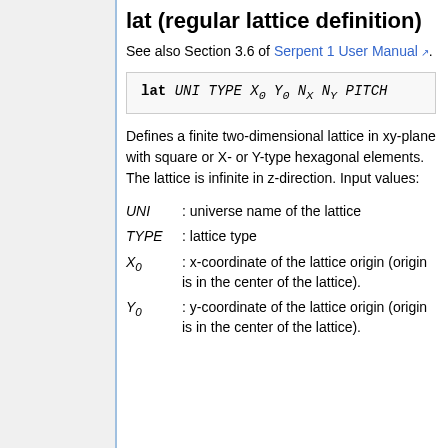lat (regular lattice definition)
See also Section 3.6 of Serpent 1 User Manual.
Defines a finite two-dimensional lattice in xy-plane with square or X- or Y-type hexagonal elements. The lattice is infinite in z-direction. Input values:
UNI : universe name of the lattice
TYPE : lattice type
X0 : x-coordinate of the lattice origin (origin is in the center of the lattice).
Y0 : y-coordinate of the lattice origin (origin is in the center of the lattice).